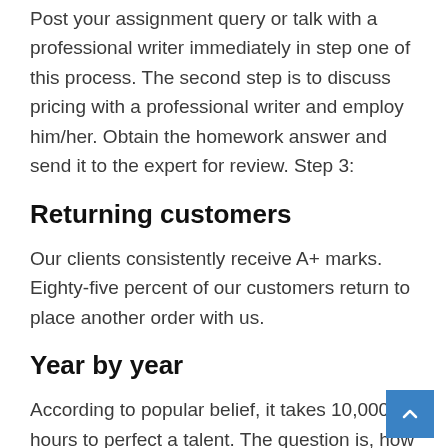Post your assignment query or talk with a professional writer immediately in step one of this process. The second step is to discuss pricing with a professional writer and employ him/her. Obtain the homework answer and send it to the expert for review. Step 3:
Returning customers
Our clients consistently receive A+ marks. Eighty-five percent of our customers return to place another order with us.
Year by year
According to popular belief, it takes 10,000 hours to perfect a talent. The question is, how on earth are you going to complete an